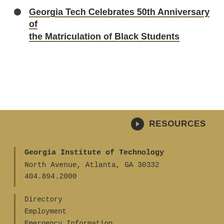Georgia Tech Celebrates 50th Anniversary of the Matriculation of Black Students
RESOURCES
Georgia Institute of Technology
North Avenue, Atlanta, GA 30332
404.894.2000
Directory
Employment
Emergency Information
Enable Accessibility
Legal & Privacy Information
Human Trafficking Notice